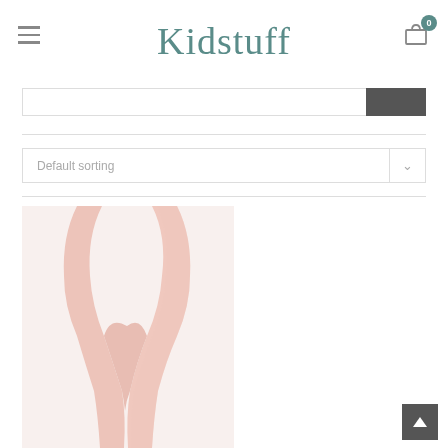Kidstuff
[Figure (screenshot): Search bar with dark button on the right]
[Figure (screenshot): Default sorting dropdown with chevron]
[Figure (photo): Ballet tights product photo showing crossed legs in pink/nude tights on white background]